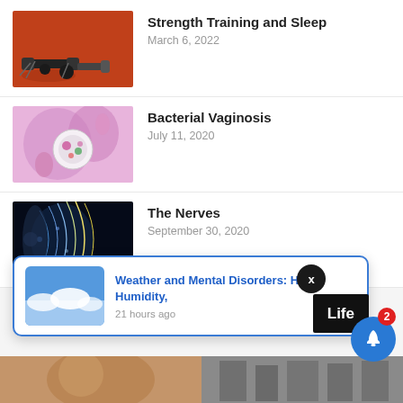[Figure (photo): Dumbbells on a red rubberized gym floor]
Strength Training and Sleep
March 6, 2022
[Figure (photo): Medical illustration of female anatomy with bacteria in a petri dish]
Bacterial Vaginosis
July 11, 2020
[Figure (photo): 3D medical illustration of human nervous system on dark background]
The Nerves
September 30, 2020
[Figure (photo): Blue sky with white clouds]
Weather and Mental Disorders: Heat, Humidity,
21 hours ago
[Figure (photo): Woman portrait]
[Figure (photo): People on a city street]